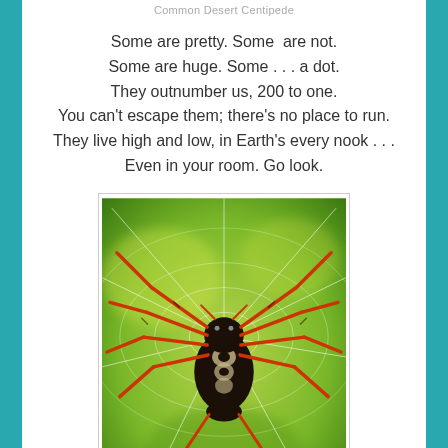Common Desert Centipede
Some are pretty. Some  are not.
Some are huge. Some . . . a dot.
They outnumber us, 200 to one.
You can't escape them; there's no place to run.
They live high and low, in Earth's every nook . . .
Even in your room. Go look.
[Figure (photo): Close-up photograph of a spider with red/orange legs and black and white patterned abdomen, centered in a web against a green blurred background.]